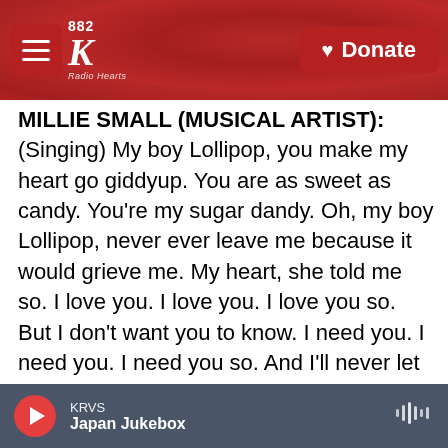882 K — Radio Hearts — Donate
MILLIE SMALL (MUSICAL ARTIST): (Singing) My boy Lollipop, you make my heart go giddyup. You are as sweet as candy. You're my sugar dandy. Oh, my boy Lollipop, never ever leave me because it would grieve me. My heart, she told me so. I love you. I love you. I love you so. But I don't want you to know. I need you. I need you. I need you so. And I'll never let you go. My boy Lollipop, you make my heart go giddyup. You set the world on fire. You are my one desire. Oh, you're my Lollipop.
GROSS: That was Millie Small's recording "My Boy Lollipop," the first really big hit that Chris Blackwell
KRVS — Japan Jukebox